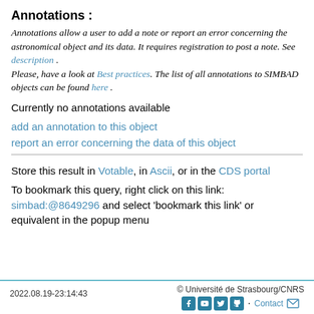Annotations :
Annotations allow a user to add a note or report an error concerning the astronomical object and its data. It requires registration to post a note. See description . Please, have a look at Best practices. The list of all annotations to SIMBAD objects can be found here .
Currently no annotations available
add an annotation to this object
report an error concerning the data of this object
Store this result in Votable, in Ascii, or in the CDS portal
To bookmark this query, right click on this link: simbad:@8649296 and select 'bookmark this link' or equivalent in the popup menu
2022.08.19-23:14:43   © Université de Strasbourg/CNRS   Contact